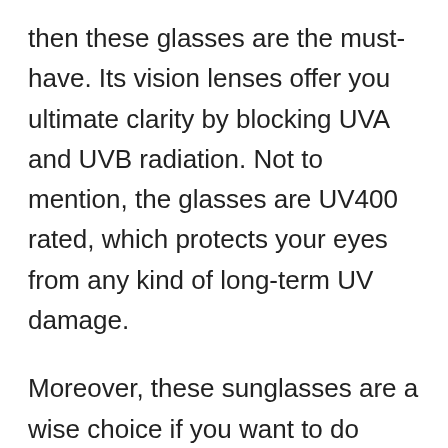then these glasses are the must-have. Its vision lenses offer you ultimate clarity by blocking UVA and UVB radiation. Not to mention, the glasses are UV400 rated, which protects your eyes from any kind of long-term UV damage.
Moreover, these sunglasses are a wise choice if you want to do outdoor activities as they are made with high-quality material with strong metal hinges.
Furthermore, the composite lenses are non-polarized and have a scratch-resistant coating. The lens's size is 62mm in width and 52mm in height with a 62mm bridge and 133mm of the